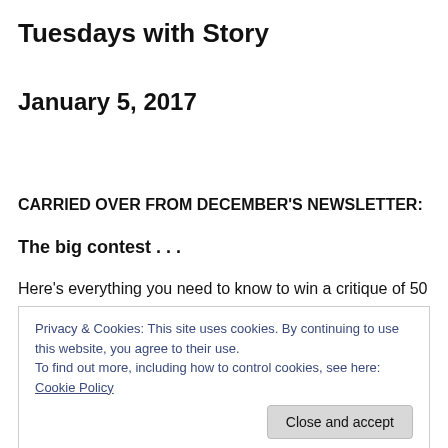Tuesdays with Story
January 5, 2017
CARRIED OVER FROM DECEMBER’S NEWSLETTER:
The big contest . . .
Here’s everything you need to know to win a critique of 50
Privacy & Cookies: This site uses cookies. By continuing to use this website, you agree to their use.
To find out more, including how to control cookies, see here: Cookie Policy
Your assignment, write the very best short story, essay or